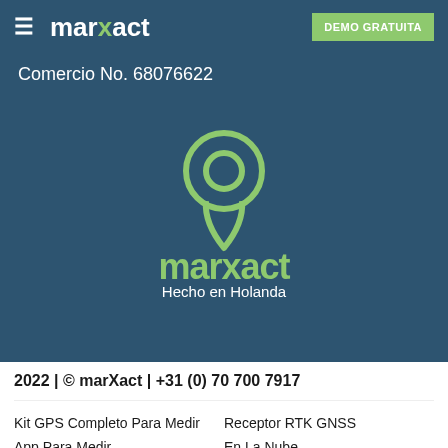marxact  DEMO GRATUITA
Comercio No. 68076622
[Figure (logo): Marxact company logo with location pin icon above the word 'marxact' in green, on dark blue background. Text below reads 'Hecho en Holanda'.]
2022 | © marXact | +31 (0) 70 700 7917
Kit GPS Completo Para Medir
Receptor RTK GNSS
App Para Medir
En La Nube